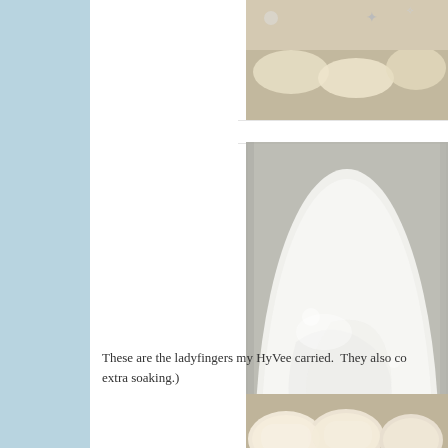Follow me:
[Figure (photo): Partial photo at top right showing food items on a surface]
[Figure (photo): Close-up photo of white creamy mixture in a metal bowl or pan]
These are the ladyfingers my HyVee carried.  They also co... extra soaking.)
[Figure (photo): Photo of ladyfinger cookies/biscuits]